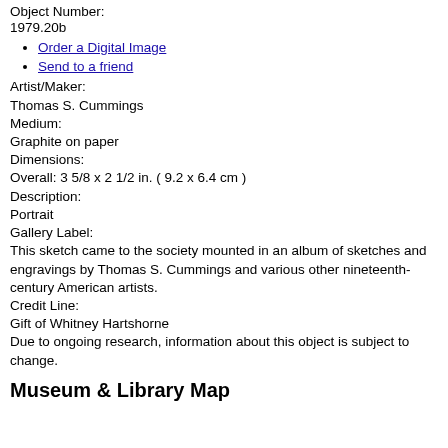Object Number:
1979.20b
Order a Digital Image
Send to a friend
Artist/Maker:
Thomas S. Cummings
Medium:
Graphite on paper
Dimensions:
Overall: 3 5/8 x 2 1/2 in. ( 9.2 x 6.4 cm )
Description:
Portrait
Gallery Label:
This sketch came to the society mounted in an album of sketches and engravings by Thomas S. Cummings and various other nineteenth-century American artists.
Credit Line:
Gift of Whitney Hartshorne
Due to ongoing research, information about this object is subject to change.
Museum & Library Map